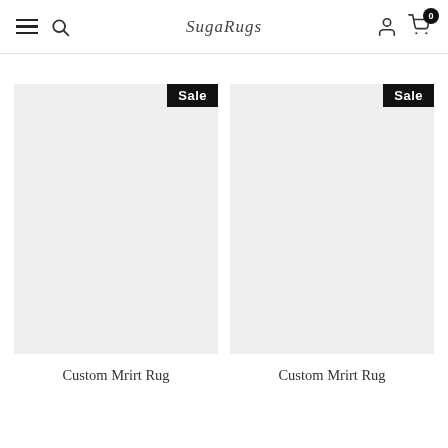SugaRugs navigation bar with hamburger menu, search, logo, user and cart icons
[Figure (screenshot): Product card 1: gray placeholder image with Sale badge, title 'Custom Mrirt Rug', price shown in red]
[Figure (screenshot): Product card 2: gray placeholder image with Sale badge, title 'Custom Mrirt Rug', price shown in red]
Custom Mrirt Rug
Custom Mrirt Rug